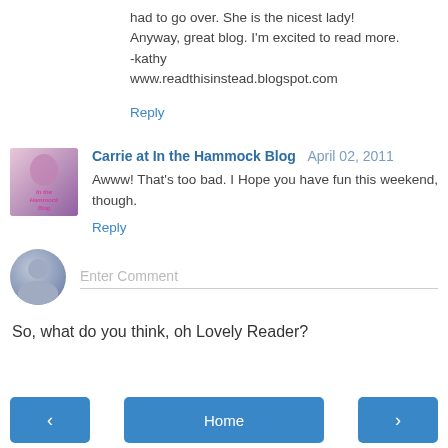had to go over. She is the nicest lady! Anyway, great blog. I'm excited to read more.
-kathy
www.readthisinstead.blogspot.com
Reply
Carrie at In the Hammock Blog  April 02, 2011
Awww! That's too bad. I Hope you have fun this weekend, though.
Reply
Enter Comment
So, what do you think, oh Lovely Reader?